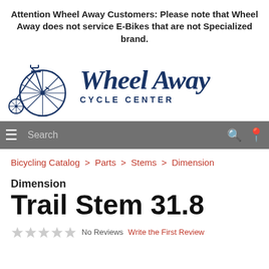Attention Wheel Away Customers: Please note that Wheel Away does not service E-Bikes that are not Specialized brand.
[Figure (logo): Wheel Away Cycle Center logo with penny-farthing bicycle illustration and script text]
[Figure (screenshot): Navigation bar with hamburger menu, search box, search icon, and location pin icon]
Bicycling Catalog > Parts > Stems > Dimension
Dimension
Trail Stem 31.8
No Reviews   Write the First Review